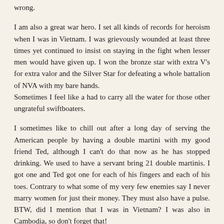wrong.
I am also a great war hero. I set all kinds of records for heroism when I was in Vietnam. I was grievously wounded at least three times yet continued to insist on staying in the fight when lesser men would have given up. I won the bronze star with extra V's for extra valor and the Silver Star for defeating a whole battalion of NVA with my bare hands.
Sometimes I feel like a had to carry all the water for those other ungrateful swiftboaters.
I sometimes like to chill out after a long day of serving the American people by having a double martini with my good friend Ted, although I can't do that now as he has stopped drinking. We used to have a servant bring 21 double martinis. I got one and Ted got one for each of his fingers and each of his toes. Contrary to what some of my very few enemies say I never marry women for just their money. They must also have a pulse. BTW, did I mention that I was in Vietnam? I was also in Cambodia, so don't forget that!
I would like to think that I am open minded, honest, polite,